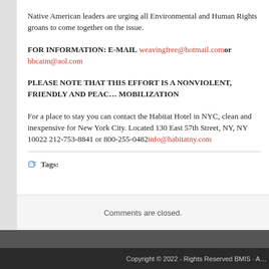Native American leaders are urging all Environmental and Human Rights groans to come together on the issue.
FOR INFORMATION: E-MAIL weavingfree@hotmail.com or bbcaim@aol.com
PLEASE NOTE THAT THIS EFFORT IS A NONVIOLENT, FRIENDLY AND PEAC… MOBILIZATION
For a place to stay you can contact the Habitat Hotel in NYC, clean and inexpensive for New York City. Located 130 East 57th Street, NY, NY 10022 212-753-8841 or 800-255-0482 info@habitatny.com
Tags:
Comments are closed.
Copyright © 2022 - Rights Reserved BMIS - A…